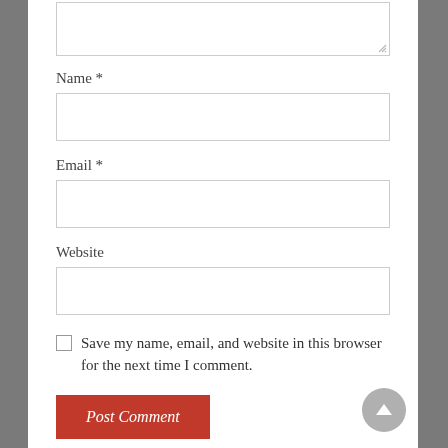[Figure (screenshot): Partially visible textarea input field at the top of the page]
Name *
[Figure (screenshot): Empty text input field for Name]
Email *
[Figure (screenshot): Empty text input field for Email]
Website
[Figure (screenshot): Empty text input field for Website]
Save my name, email, and website in this browser for the next time I comment.
Post Comment